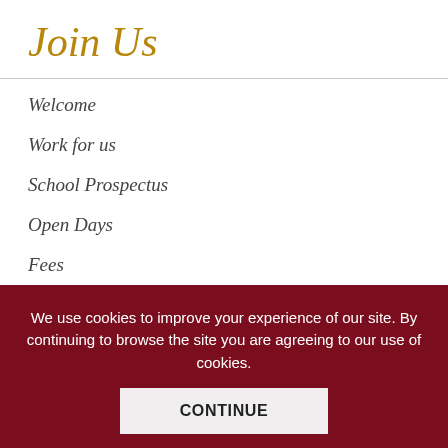Join Us
Welcome
Work for us
School Prospectus
Open Days
Fees
Bursaries & Scholarships
We use cookies to improve your experience of our site. By continuing to browse the site you are agreeing to our use of cookies.
CONTINUE